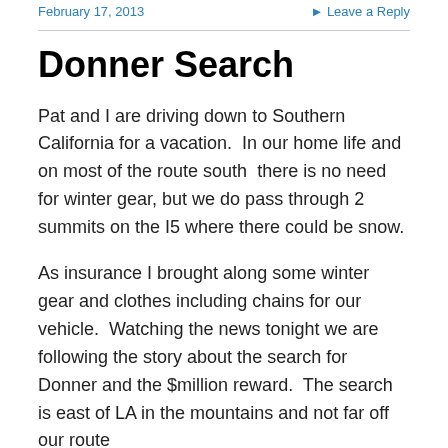February 17, 2013   ▸ Leave a Reply
Donner Search
Pat and I are driving down to Southern California for a vacation.  In our home life and on most of the route south  there is no need for winter gear, but we do pass through 2 summits on the I5 where there could be snow.
As insurance I brought along some winter gear and clothes including chains for our vehicle.  Watching the news tonight we are following the story about the search for Donner and the $million reward.  The search is east of LA in the mountains and not far off our route
I have decided that we are going to go on a detour on our drive to Palm Springs and I will stop and don my winter